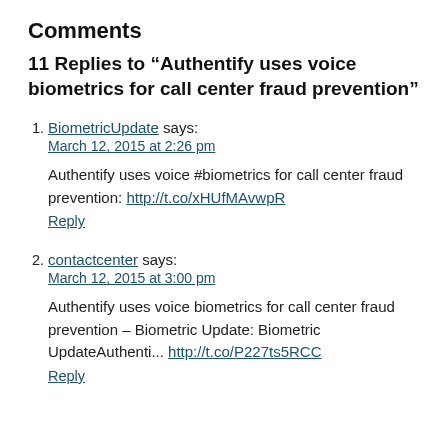Comments
11 Replies to “Authentify uses voice biometrics for call center fraud prevention”
BiometricUpdate says:
March 12, 2015 at 2:26 pm
Authentify uses voice #biometrics for call center fraud prevention: http://t.co/xHUfMAvwpR
Reply
contactcenter says:
March 12, 2015 at 3:00 pm
Authentify uses voice biometrics for call center fraud prevention – Biometric Update: Biometric UpdateAuthenti... http://t.co/P227ts5RCC
Reply